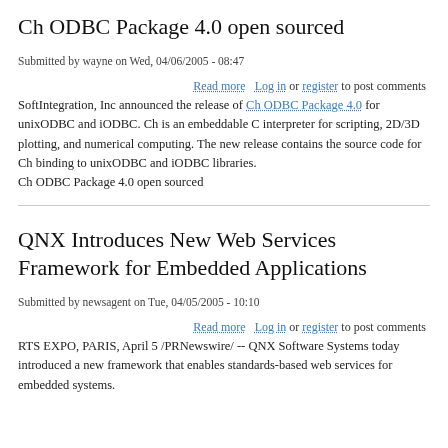Ch ODBC Package 4.0 open sourced
Submitted by wayne on Wed, 04/06/2005 - 08:47
Read more   Log in or register to post comments
SoftIntegration, Inc announced the release of Ch ODBC Package 4.0 for unixODBC and iODBC. Ch is an embeddable C interpreter for scripting, 2D/3D plotting, and numerical computing. The new release contains the source code for Ch binding to unixODBC and iODBC libraries.
Ch ODBC Package 4.0 open sourced
QNX Introduces New Web Services Framework for Embedded Applications
Submitted by newsagent on Tue, 04/05/2005 - 10:10
Read more   Log in or register to post comments
RTS EXPO, PARIS, April 5 /PRNewswire/ -- QNX Software Systems today introduced a new framework that enables standards-based web services for embedded systems.